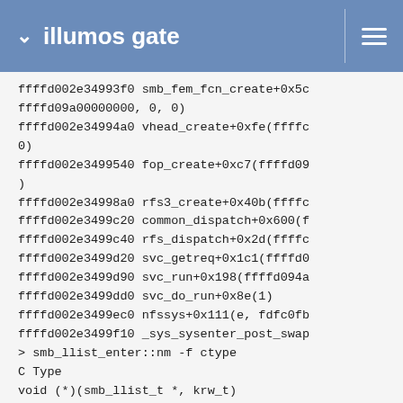illumos gate
ffffd002e34993f0 smb_fem_fcn_create+0x5c
ffffd09a00000000, 0, 0)
ffffd002e34994a0 vhead_create+0xfe(ffffc
0)
ffffd002e3499540 fop_create+0xc7(ffffd0s
)
ffffd002e34998a0 rfs3_create+0x40b(ffffc
ffffd002e3499c20 common_dispatch+0x600(f
ffffd002e3499c40 rfs_dispatch+0x2d(ffffc
ffffd002e3499d20 svc_getreq+0x1c1(ffffd0
ffffd002e3499d90 svc_run+0x198(ffffd094a
ffffd002e3499dd0 svc_do_run+0x8e(1)
ffffd002e3499ec0 nfssys+0x111(e, fdfc0fb
ffffd002e3499f10 _sys_sysenter_post_swap
> smb_llist_enter::nm -f ctype
C Type
void (*)(smb_llist_t *, krw_t)